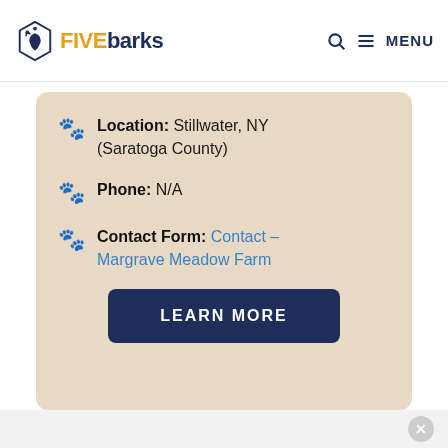FIVE barks — MENU
Location: Stillwater, NY (Saratoga County)
Phone: N/A
Contact Form: Contact – Margrave Meadow Farm
LEARN MORE